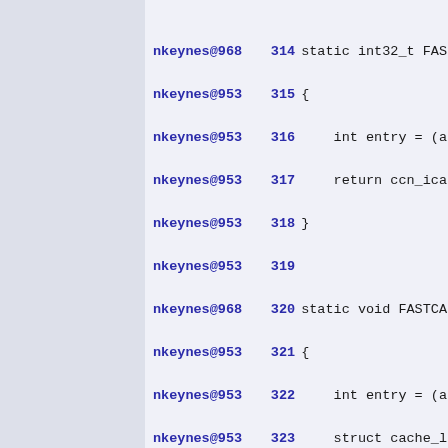nkeynes@968  314  static int32_t FAS
nkeynes@953  315  {
nkeynes@953  316      int entry = (a
nkeynes@953  317      return ccn_ica
nkeynes@953  318  }
nkeynes@953  319
nkeynes@968  320  static void FASTCA
nkeynes@953  321  {
nkeynes@953  322      int entry = (a
nkeynes@953  323      struct cache_l